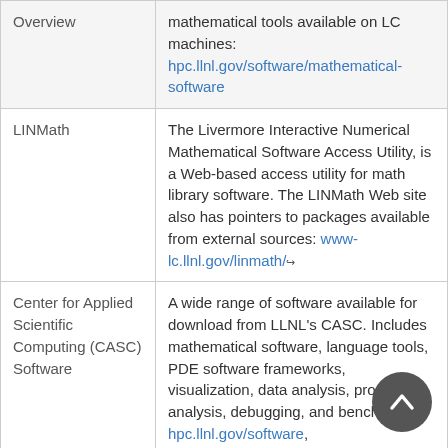| Name | Description |
| --- | --- |
| Overview | mathematical tools available on LC machines: hpc.llnl.gov/software/mathematical-software |
| LINMath | The Livermore Interactive Numerical Mathematical Software Access Utility, is a Web-based access utility for math library software. The LINMath Web site also has pointers to packages available from external sources: www-lc.llnl.gov/linmath/ |
| Center for Applied Scientific Computing (CASC) Software | A wide range of software available for download from LLNL's CASC. Includes mathematical software, language tools, PDE software frameworks, visualization, data analysis, program analysis, debugging, and benchmarks: hpc.llnl.gov/software, |